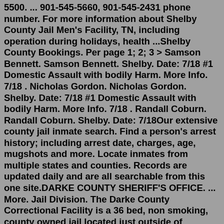5500. ... 901-545-5660, 901-545-2431 phone number. For more information about Shelby County Jail Men's Facility, TN, including operation during holidays, health ...Shelby County Bookings. Per page 1; 2; 3 > Samson Bennett. Samson Bennett. Shelby. Date: 7/18 #1 Domestic Assault with bodily Harm. More Info. 7/18 . Nicholas Gordon. Nicholas Gordon. Shelby. Date: 7/18 #1 Domestic Assault with bodily Harm. More Info. 7/18 . Randall Coburn. Randall Coburn. Shelby. Date: 7/18Our extensive county jail inmate search. Find a person's arrest history; including arrest date, charges, age, mugshots and more. Locate inmates from multiple states and counties. Records are updated daily and are all searchable from this one site.DARKE COUNTY SHERIFF'S OFFICE. ... More. Jail Division. The Darke County Correctional Facility is a 36 bed, non smoking, county owned jail located just outside of Greenville, Ohio. Visiting Hours Inmates are encouraged to have visitation with family and friends. Phone, Non Emergency: (937) 548-2020